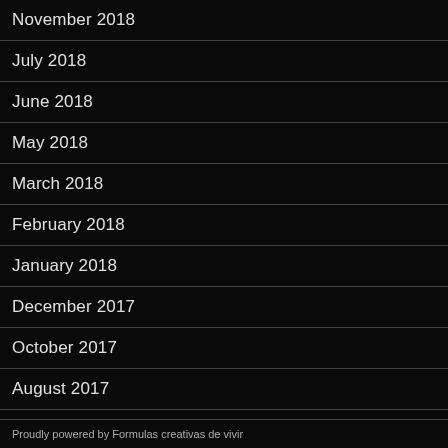November 2018
July 2018
June 2018
May 2018
March 2018
February 2018
January 2018
December 2017
October 2017
August 2017
Proudly powered by Formulas creativas de vivir